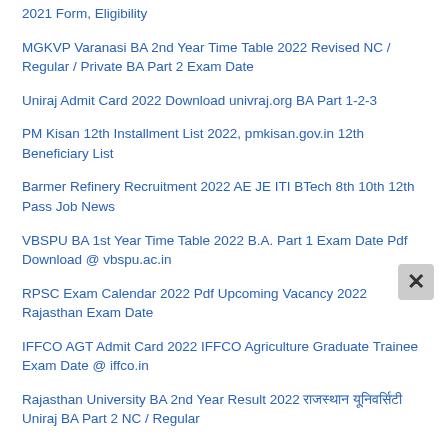2021 Form, Eligibility
MGKVP Varanasi BA 2nd Year Time Table 2022 Revised NC / Regular / Private BA Part 2 Exam Date
Uniraj Admit Card 2022 Download univraj.org BA Part 1-2-3
PM Kisan 12th Installment List 2022, pmkisan.gov.in 12th Beneficiary List
Barmer Refinery Recruitment 2022 AE JE ITI BTech 8th 10th 12th Pass Job News
VBSPU BA 1st Year Time Table 2022 B.A. Part 1 Exam Date Pdf Download @ vbspu.ac.in
RPSC Exam Calendar 2022 Pdf Upcoming Vacancy 2022 Rajasthan Exam Date
IFFCO AGT Admit Card 2022 IFFCO Agriculture Graduate Trainee Exam Date @ iffco.in
Rajasthan University BA 2nd Year Result 2022 राजस्थान यूनिवर्सिटी Uniraj BA Part 2 NC / Regular